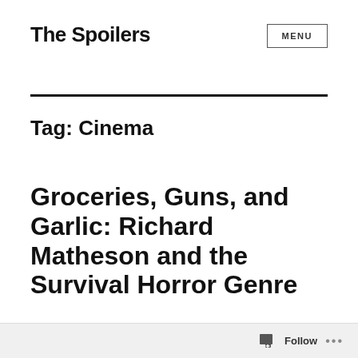The Spoilers
MENU
Tag: Cinema
Groceries, Guns, and Garlic: Richard Matheson and the Survival Horror Genre
Follow